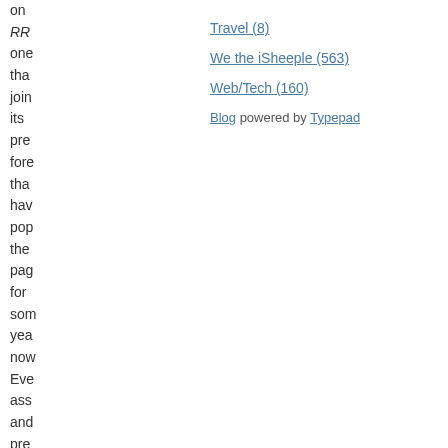on
RR
one
tha
join
its
pre
fore
tha
hav
pop
the
pag
for
som
yea
now
Eve
ass
and
pre
her
has
bee
Travel (8)
We the iSheeple (563)
Web/Tech (160)
Blog powered by Typepad